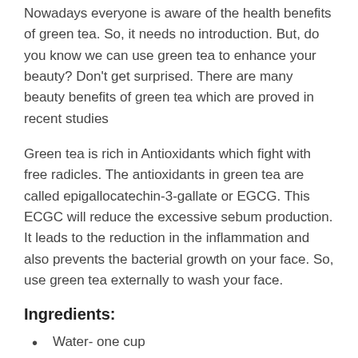Nowadays everyone is aware of the health benefits of green tea. So, it needs no introduction. But, do you know we can use green tea to enhance your beauty? Don't get surprised. There are many beauty benefits of green tea which are proved in recent studies
Green tea is rich in Antioxidants which fight with free radicles. The antioxidants in green tea are called epigallocatechin-3-gallate or EGCG. This ECGC will reduce the excessive sebum production. It leads to the reduction in the inflammation and also prevents the bacterial growth on your face. So, use green tea externally to wash your face.
Ingredients:
Water- one cup
Green tea leaves- one tablespoon full or a tea bag.